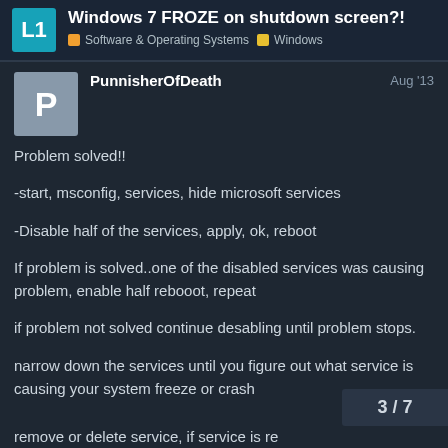Windows 7 FROZE on shutdown screen?!
Software & Operating Systems  Windows
PunnisherOfDeath  Aug '13
Problem solved!!
-start, msconfig, services, hide microsoft services
-Disable half of the services, apply, ok, reboot
If problem is solved..one of the disabled services was causing problem, enable half rebooot, repeat
if problem not solved continue desabling until problem stops.
narrow down the services until you figure out what service is causing your system freeze or crash
3 / 7
remove or delete service, if service is re